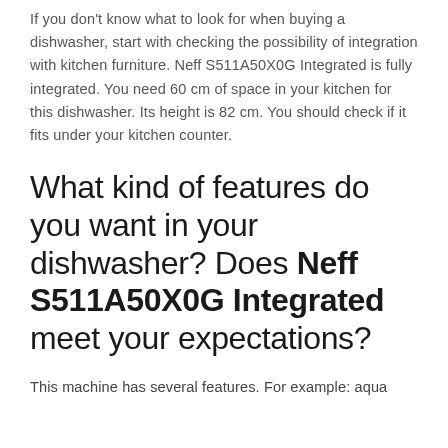If you don't know what to look for when buying a dishwasher, start with checking the possibility of integration with kitchen furniture. Neff S511A50X0G Integrated is fully integrated. You need 60 cm of space in your kitchen for this dishwasher. Its height is 82 cm. You should check if it fits under your kitchen counter.
What kind of features do you want in your dishwasher? Does Neff S511A50X0G Integrated meet your expectations?
This machine has several features. For example: aqua